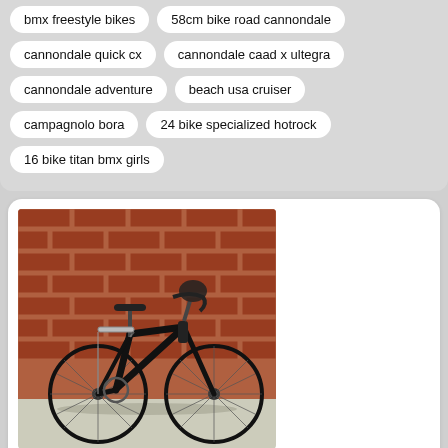bmx freestyle bikes
58cm bike road cannondale
cannondale quick cx
cannondale caad x ultegra
cannondale adventure
beach usa cruiser
campagnolo bora
24 bike specialized hotrock
16 bike titan bmx girls
[Figure (photo): Black road bike (Specialized Allez Sport, 58cm) leaning against a red brick wall on a sidewalk, with a rear rack and drop handlebars.]
Specialized Allez Sport  road bike 58cm